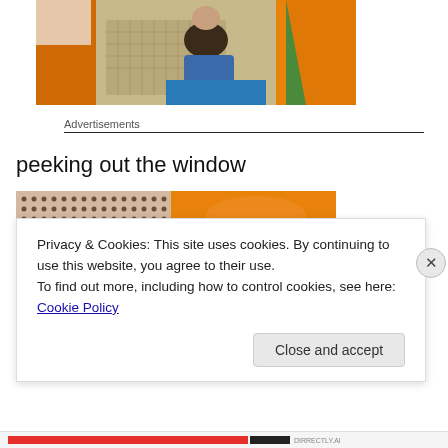[Figure (photo): A toddler/baby inside an orange tent, sitting with a pillow and blue sleeping bag, wearing a dark shirt and jeans, with green fabric visible.]
Advertisements
peeking out the window
[Figure (photo): Close-up of a mesh/grid fabric with dot pattern in dark brown/black and orange fabric background, partial view from inside a tent window.]
Privacy & Cookies: This site uses cookies. By continuing to use this website, you agree to their use.
To find out more, including how to control cookies, see here: Cookie Policy
Close and accept